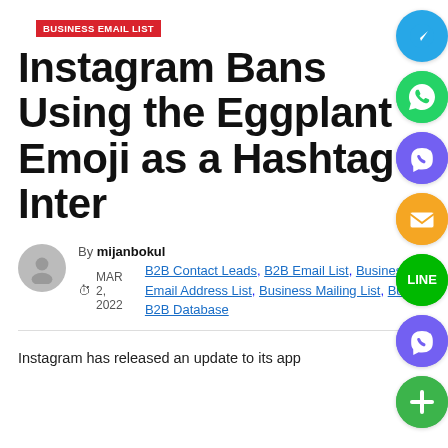BUSINESS EMAIL LIST
Instagram Bans Using the Eggplant Emoji as a Hashtag Inter
By mijanbokul
MAR 2, 2022   B2B Contact Leads, B2B Email List, Business Email Address List, Business Mailing List, Buy B2B Database
Instagram has released an update to its app